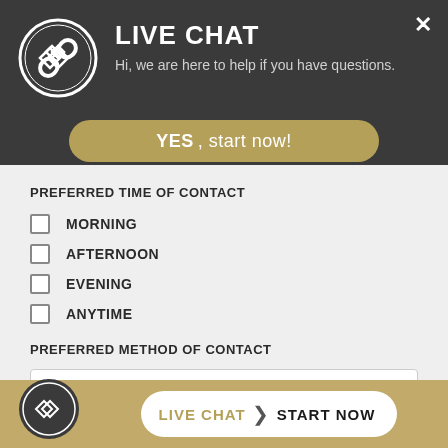[Figure (logo): Live chat widget header with logo, title LIVE CHAT, subtitle, close button, and YES start now button]
PREFERRED TIME OF CONTACT
MORNING
AFTERNOON
EVENING
ANYTIME
PREFERRED METHOD OF CONTACT
Phone (dropdown)
DESCRIBE YOUR INJURY *
[Figure (logo): Footer bar with logo circle and LIVE CHAT > START NOW button]